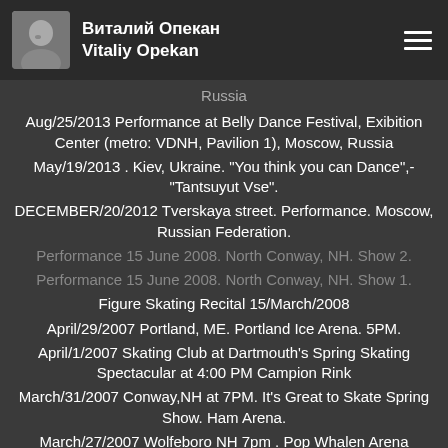Виталий Опекан Vitaliy Opekan
Russia
Aug/25/2013 Performance at Belly Dance Festival, Exibition Center (metro: VDNH, Pavilion 1), Moscow, Russia
May/19/2013 . Kiev, Ukraine. "You think you can Dance",- "Tantsuyut Vse".
DECEMBER/20/2012 Tverskaya street. Performance. Moscow, Russian Federation.
Performance 15 June 2008. North Conway, NH. Show 2.
Performance 15 June 2008. North Conway, NH. Show 1.
Figure Skating Recital 15/March/2008
April/29/2007 Portland, ME. Portland Ice Arena. 5PM.
April/1/2007 Skating Club at Dartmouth's Spring Skating Spectacular at 4:00 PM Campion Rink
March/31/2007 Conway,NH at 7PM. It's Great to Skate Spring Show. Ham Arena.
March/27/2007 Wolfeboro NH 7pm . Pop Whalen Arena